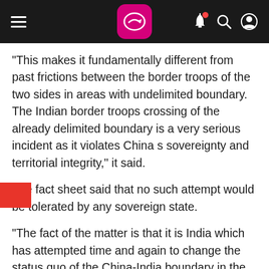Navigation bar with logo, hamburger menu, notification bell, search, and profile icons
"This makes it fundamentally different from past frictions between the border troops of the two sides in areas with undelimited boundary. The Indian border troops crossing of the already delimited boundary is a very serious incident as it violates China s sovereignty and territorial integrity," it said.
The fact sheet said that no such attempt would be tolerated by any sovereign state.
"The fact of the matter is that it is India which has attempted time and again to change the status quo of the China-India boundary in the Sikkim Sector, which poses a grave security threat to China," it said.